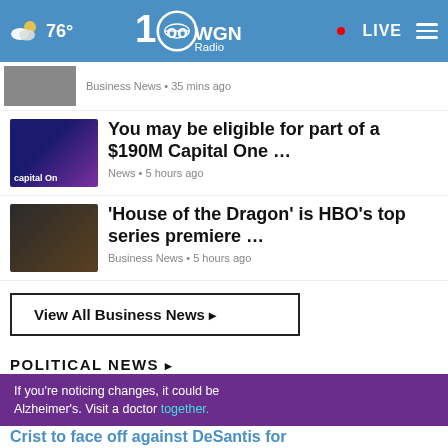76° WGN Radio • LIVE
Business News • 35 mins ago
You may be eligible for part of a $190M Capital One …
News • 5 hours ago
'House of the Dragon' is HBO's top series premiere …
Business News • 5 hours ago
View All Business News ▸
POLITICAL NEWS ▸
Democratic Senate candida… in
If you're noticing changes, it could be Alzheimer's. Visit a doctor together.
Crist to face off against DeSantis for